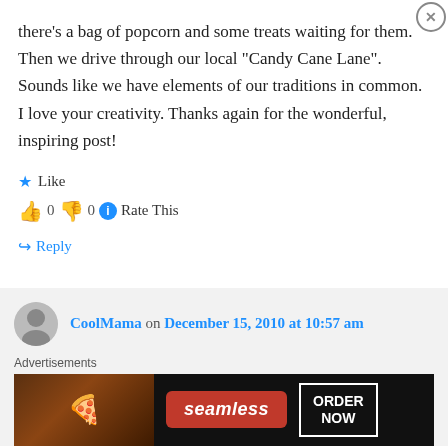there's a bag of popcorn and some treats waiting for them. Then we drive through our local “Candy Cane Lane”. Sounds like we have elements of our traditions in common. I love your creativity. Thanks again for the wonderful, inspiring post!
★ Like
👍 0 👎 0 ℹ Rate This
↪ Reply
CoolMama on December 15, 2010 at 10:57 am
[Figure (advertisement): Seamless food delivery advertisement banner with pizza image, red Seamless logo, and ORDER NOW button]
Advertisements